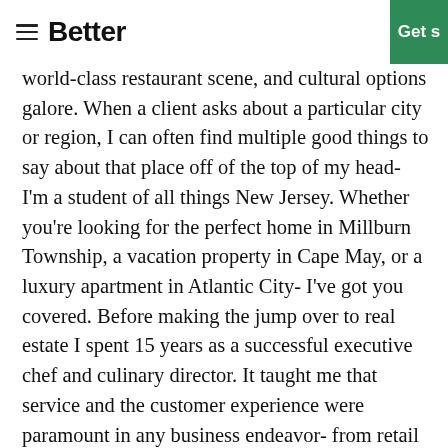Better  Get s
world-class restaurant scene, and cultural options galore. When a client asks about a particular city or region, I can often find multiple good things to say about that place off of the top of my head- I'm a student of all things New Jersey. Whether you're looking for the perfect home in Millburn Township, a vacation property in Cape May, or a luxury apartment in Atlantic City- I've got you covered. Before making the jump over to real estate I spent 15 years as a successful executive chef and culinary director. It taught me that service and the customer experience were paramount in any business endeavor- from retail to real estate. I pride myself on being your advocate, leveraging my market knowledge and connections to ensure you get exactly what you want out of a home transaction. Outside of work hours, you could very accurately describe me as an artistic foodie looking for an